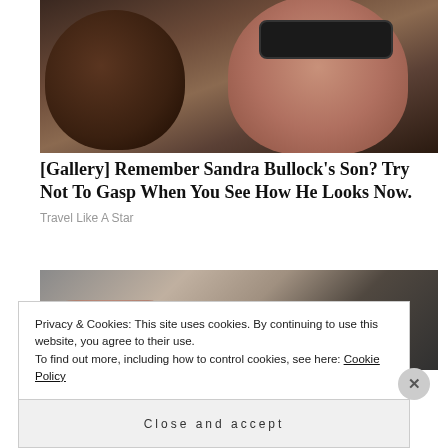[Figure (photo): Photo of a woman wearing sunglasses holding a young child]
[Gallery] Remember Sandra Bullock's Son? Try Not To Gasp When You See How He Looks Now.
Travel Like A Star
[Figure (photo): Partial photo showing a hand and a dark object on a sandy/gravel background]
Privacy & Cookies: This site uses cookies. By continuing to use this website, you agree to their use.
To find out more, including how to control cookies, see here: Cookie Policy
Close and accept